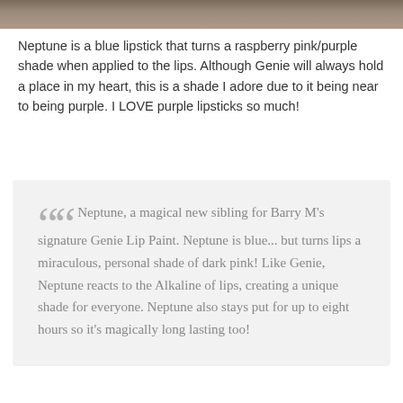[Figure (photo): Top strip showing a photo (cropped) of what appears to be a textured or natural scene]
Neptune is a blue lipstick that turns a raspberry pink/purple shade when applied to the lips. Although Genie will always hold a place in my heart, this is a shade I adore due to it being near to being purple. I LOVE purple lipsticks so much!
Neptune, a magical new sibling for Barry M's signature Genie Lip Paint. Neptune is blue... but turns lips a miraculous, personal shade of dark pink! Like Genie, Neptune reacts to the Alkaline of lips, creating a unique shade for everyone. Neptune also stays put for up to eight hours so it's magically long lasting too!